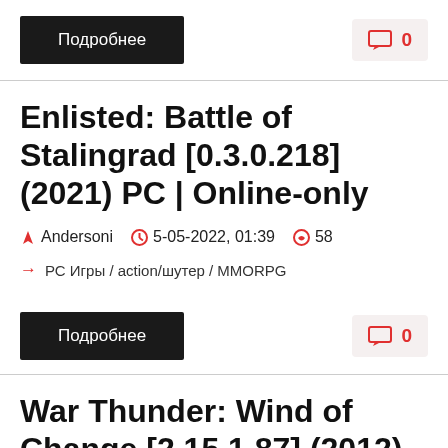Подробнее (button) | 0 (comment count)
Enlisted: Battle of Stalingrad [0.3.0.218] (2021) PC | Online-only
Andersoni | 5-05-2022, 01:39 | 58
РС Игры / action/шутер / MMORPG
Подробнее (button) | 0 (comment count)
War Thunder: Wind of Change [2.15.1.87] (2012) PC | Online-only